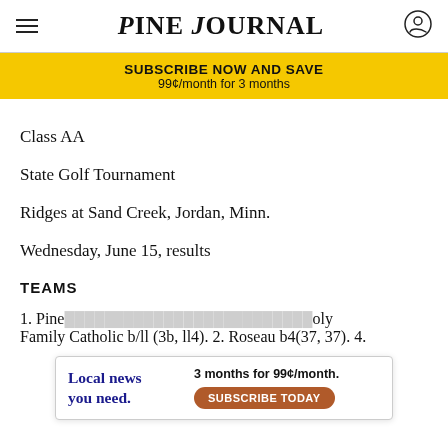Pine Journal
[Figure (infographic): Yellow subscribe banner: SUBSCRIBE NOW AND SAVE / 99¢/month for 3 months]
Class AA
State Golf Tournament
Ridges at Sand Creek, Jordan, Minn.
Wednesday, June 15, results
TEAMS
1. Pine... Holy Family Catholic b/ll (3b, ll4). 2. Roseau b4(37, 37). 4.
[Figure (infographic): Ad overlay: Local news you need. 3 months for 99¢/month. SUBSCRIBE TODAY]